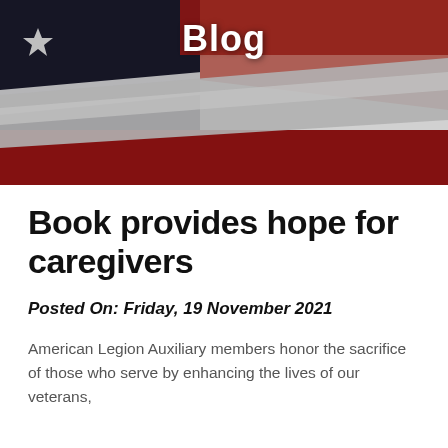[Figure (photo): Close-up photograph of an American flag showing the stars and red and white stripes, serving as a hero banner background for the blog page.]
Blog
Book provides hope for caregivers
Posted On: Friday, 19 November 2021
American Legion Auxiliary members honor the sacrifice of those who serve by enhancing the lives of our veterans,